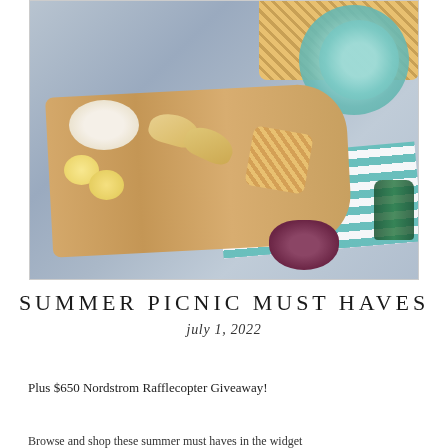[Figure (photo): Overhead photo of a picnic scene with a wicker basket, teal/turquoise plates, a wooden cutting board with madeleines, waffles, cream puffs and powdered pastries, a blue striped cloth, a teal and white striped towel, a small bowl of berries, and a green bottle.]
SUMMER PICNIC MUST HAVES
july 1, 2022
Plus $650 Nordstrom Rafflecopter Giveaway!
Browse and shop these summer must haves in the widget